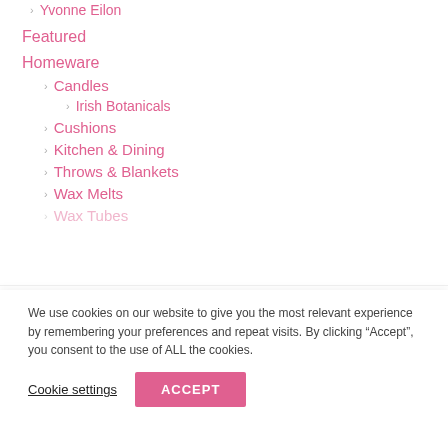Yvonne Eilon
Featured
Homeware
Candles
Irish Botanicals
Cushions
Kitchen & Dining
Throws & Blankets
Wax Melts
Wax Tubes
We use cookies on our website to give you the most relevant experience by remembering your preferences and repeat visits. By clicking “Accept”, you consent to the use of ALL the cookies.
Cookie settings
ACCEPT